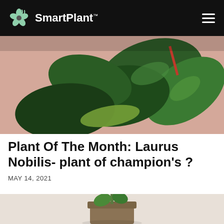SmartPlant
[Figure (photo): Close-up photo of tropical plant leaves with large dark green leaves against a peach/salmon background]
Plant Of The Month: Laurus Nobilis- plant of champion's ?
MAY 14, 2021
[Figure (photo): Bottom portion of a photo showing a small plant in a pot on a light background, partially visible]